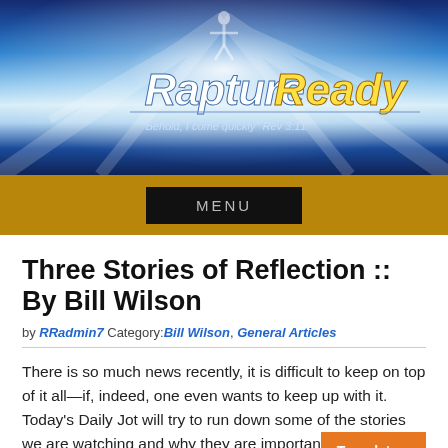[Figure (screenshot): Rapture Ready website header banner with blue sky, light rays, figure silhouette, logo text 'Rapture Ready' and tagline 'Behold, I come quickly Rev 3:11']
[Figure (screenshot): Dark navigation bar with gold background and MENU button]
Three Stories of Reflection :: By Bill Wilson
by RRadmin7 Category:Bill Wilson, General Articles
There is so much news recently, it is difficult to keep on top of it all—if, indeed, one even wants to keep up with it. Today's Daily Jot will try to run down some of the stories we are watching and why they are important.